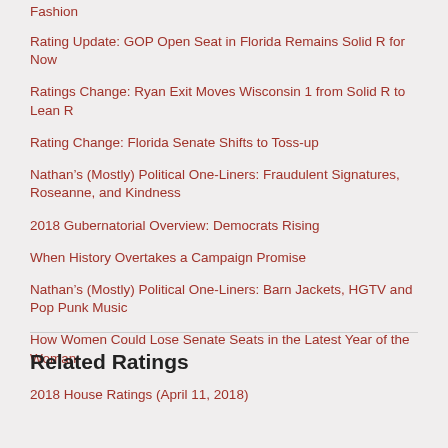Fashion
Rating Update: GOP Open Seat in Florida Remains Solid R for Now
Ratings Change: Ryan Exit Moves Wisconsin 1 from Solid R to Lean R
Rating Change: Florida Senate Shifts to Toss-up
Nathan’s (Mostly) Political One-Liners: Fraudulent Signatures, Roseanne, and Kindness
2018 Gubernatorial Overview: Democrats Rising
When History Overtakes a Campaign Promise
Nathan’s (Mostly) Political One-Liners: Barn Jackets, HGTV and Pop Punk Music
How Women Could Lose Senate Seats in the Latest Year of the Woman
Related Ratings
2018 House Ratings (April 11, 2018)